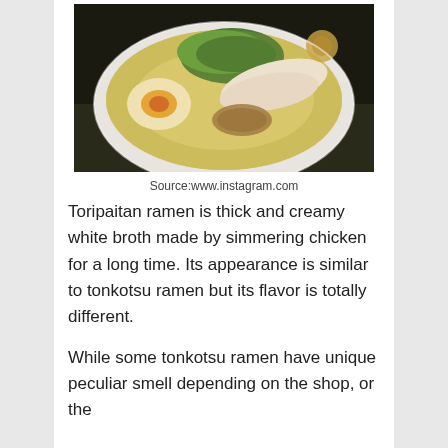[Figure (photo): A bowl of toripaitan ramen with milky white broth, chicken slices, a soft-boiled egg cut in half, green herbs, noodles, and ground meat toppings, photographed from above on a dark background.]
Source:www.instagram.com
Toripaitan ramen is thick and creamy white broth made by simmering chicken for a long time.  Its appearance is similar to tonkotsu ramen but its flavor is totally different.
While some tonkotsu ramen have unique peculiar smell depending on the shop, or the